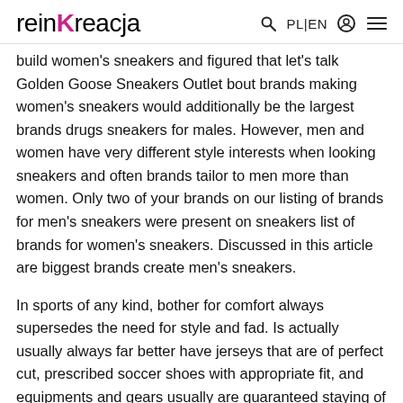reinKreacja | PL|EN
build women's sneakers and figured that let's talk Golden Goose Sneakers Outlet bout brands making women's sneakers would additionally be the largest brands drugs sneakers for males. However, men and women have very different style interests when looking sneakers and often brands tailor to men more than women. Only two of your brands on our listing of brands for men's sneakers were present on sneakers list of brands for women's sneakers. Discussed in this article are biggest brands create men's sneakers.
In sports of any kind, bother for comfort always supersedes the need for style and fad. Is actually usually always far better have jerseys that are of perfect cut, prescribed soccer shoes with appropriate fit, and equipments and gears usually are guaranteed staying of top quality. It is easy to distinguish shoddy ones from superb varieties for they come with less impressive